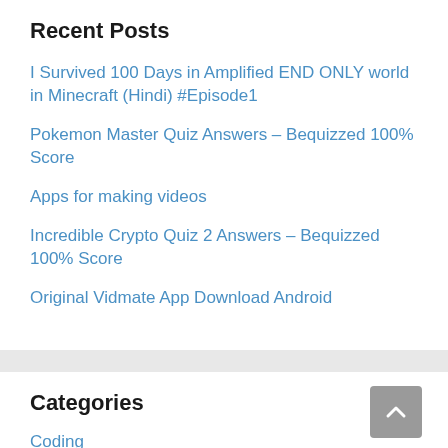Recent Posts
I Survived 100 Days in Amplified END ONLY world in Minecraft (Hindi) #Episode1
Pokemon Master Quiz Answers – Bequizzed 100% Score
Apps for making videos
Incredible Crypto Quiz 2 Answers – Bequizzed 100% Score
Original Vidmate App Download Android
Categories
Coding